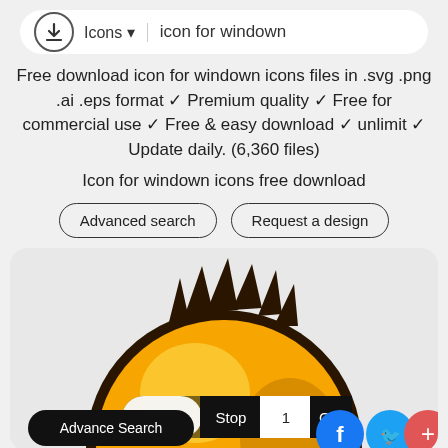[Figure (screenshot): Website UI showing download icon site header with search bar reading 'icon for windown', navigation with 'Icons' dropdown, and download circle icon on left]
Free download icon for windown icons files in .svg .png .ai .eps format ✓ Premium quality ✓ Free for commercial use ✓ Free & easy download ✓ unlimit ✓ Update daily. (6,360 files)
Icon for windown icons free download
Advanced search
Request a design
[Figure (illustration): Large golden/orange cartoon character ball with dark spiky hair visible at top, shown in a rounded rectangle card. Overlaid pagination bar showing Page: Stop 1 Go!, Advance Search button bottom left, Facebook, Twitter, and plus social share icons bottom right.]